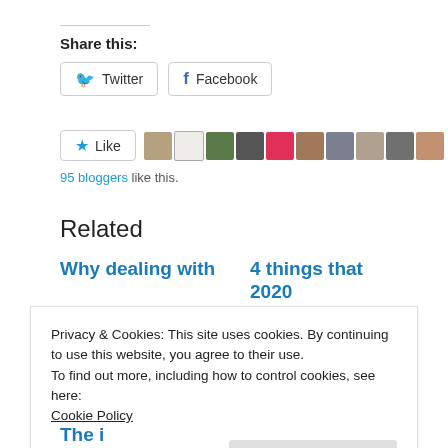Share this:
Twitter | Facebook
Like | [avatar strip] 95 bloggers like this.
Related
Why dealing with
4 things that 2020
Privacy & Cookies: This site uses cookies. By continuing to use this website, you agree to their use.
To find out more, including how to control cookies, see here:
Cookie Policy
Close and accept